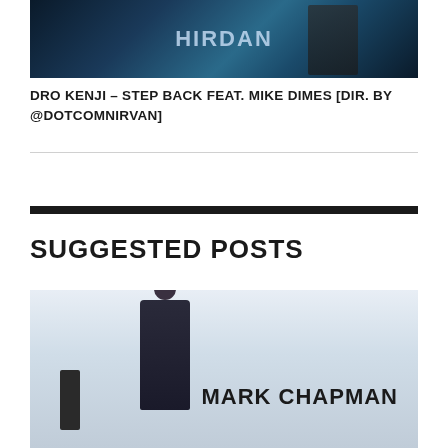[Figure (photo): Music video still or movie poster thumbnail with dark teal/blue cinematic tone, showing stylized logo text and a figure silhouette]
DRO KENJI – STEP BACK FEAT. MIKE DIMES [DIR. BY @DOTCOMNIRVAN]
SUGGESTED POSTS
[Figure (photo): Cinematic still showing a person in dark clothing standing in a bright, minimal space with 'MARK CHAPMAN' text overlay]